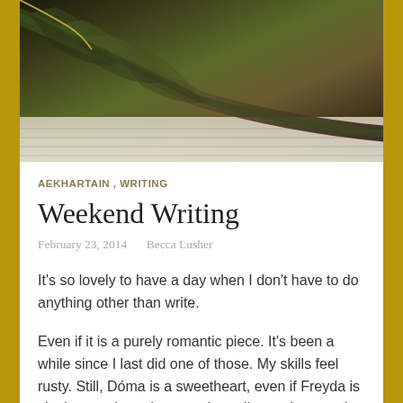[Figure (photo): Close-up photograph of a dark green and brown feather quill resting on lined notebook paper, shot from above with shallow depth of field against a dark background.]
AEKHARTAIN , WRITING
Weekend Writing
February 23, 2014   Becca Lusher
It’s so lovely to have a day when I don’t have to do anything other than write.
Even if it is a purely romantic piece. It’s been a while since I last did one of those. My skills feel rusty. Still, Dóma is a sweetheart, even if Freyda is clueless and needs to catch up. I’m getting to write Eddie (Edaiká) again, which is lovely. It’s been years. I also have a feeling Mask is about to get in on the